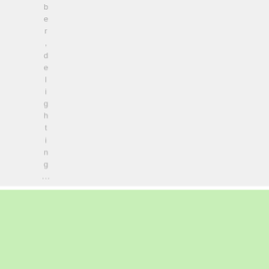b e r , d e l i g h t i n g ...
[Figure (illustration): Best-Performing CEOs to Watch Out For 2021 logo with orange figure and text, alongside a photo of a man in a suit against a light green background]